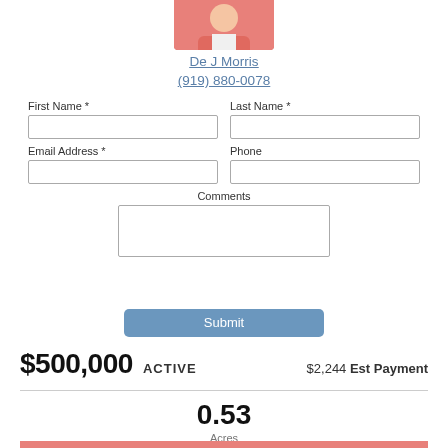[Figure (photo): Agent photo - person in pink/coral blazer]
De J Morris
(919) 880-0078
First Name *
Last Name *
Email Address *
Phone
Comments
Submit
$500,000 ACTIVE
$2,244 Est Payment
0.53
Acres